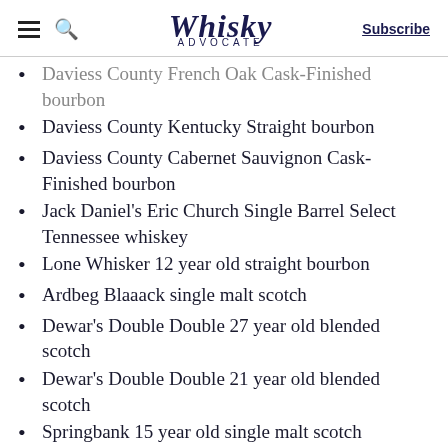Whisky Advocate | Subscribe
Daviess County French Oak Cask-Finished bourbon
Daviess County Kentucky Straight bourbon
Daviess County Cabernet Sauvignon Cask-Finished bourbon
Jack Daniel's Eric Church Single Barrel Select Tennessee whiskey
Lone Whisker 12 year old straight bourbon
Ardbeg Blaaack single malt scotch
Dewar's Double Double 27 year old blended scotch
Dewar's Double Double 21 year old blended scotch
Springbank 15 year old single malt scotch
Knappogue Castle 14 year old Twin Wood